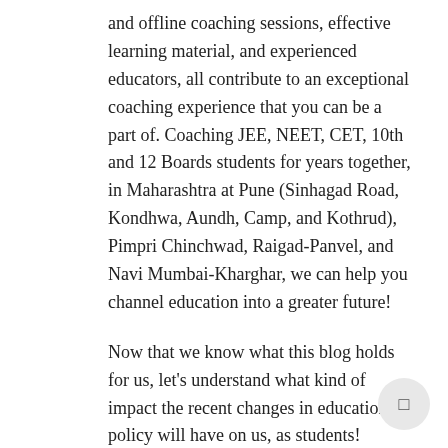and offline coaching sessions, effective learning material, and experienced educators, all contribute to an exceptional coaching experience that you can be a part of. Coaching JEE, NEET, CET, 10th and 12 Boards students for years together, in Maharashtra at Pune (Sinhagad Road, Kondhwa, Aundh, Camp, and Kothrud), Pimpri Chinchwad, Raigad-Panvel, and Navi Mumbai-Kharghar, we can help you channel education into a greater future!
Now that we know what this blog holds for us, let's understand what kind of impact the recent changes in educational policy will have on us, as students!